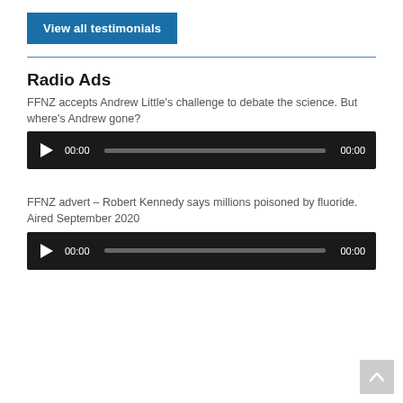View all testimonials
Radio Ads
FFNZ accepts Andrew Little's challenge to debate the science. But where's Andrew gone?
[Figure (other): Audio player with play button, time 00:00, progress bar, and end time 00:00]
FFNZ advert – Robert Kennedy says millions poisoned by fluoride. Aired September 2020
[Figure (other): Audio player with play button, time 00:00, progress bar, and end time 00:00]